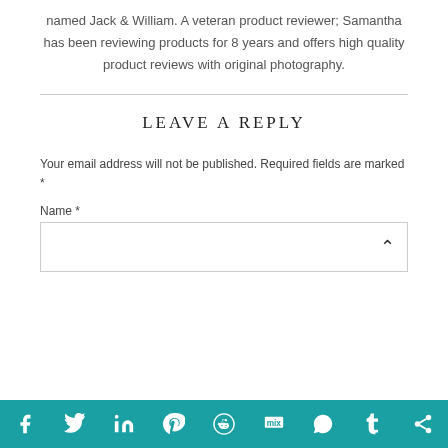named Jack & William. A veteran product reviewer; Samantha has been reviewing products for 8 years and offers high quality product reviews with original photography.
LEAVE A REPLY
Your email address will not be published. Required fields are marked *
Name *
[Figure (other): Social media sharing bar with icons for Facebook, Twitter, LinkedIn, Pinterest, Reddit, Mix, WhatsApp, Tumblr, and share]